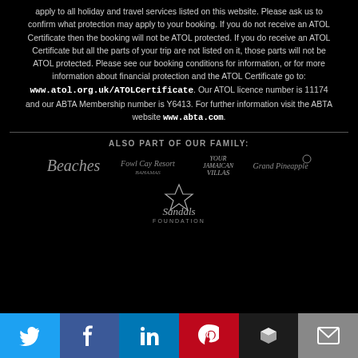apply to all holiday and travel services listed on this website. Please ask us to confirm what protection may apply to your booking. If you do not receive an ATOL Certificate then the booking will not be ATOL protected. If you do receive an ATOL Certificate but all the parts of your trip are not listed on it, those parts will not be ATOL protected. Please see our booking conditions for information, or for more information about financial protection and the ATOL Certificate go to: www.atol.org.uk/ATOLCertificate. Our ATOL licence number is 11174 and our ABTA Membership number is Y6413. For further information visit the ABTA website www.abta.com.
[Figure (logo): Logos: Beaches, Fowl Cay Resort Bahamas, Your Jamaican Villas, Grand Pineapple, Sandals Foundation]
[Figure (infographic): Social media sharing bar with Twitter, Facebook, LinkedIn, Pinterest, Buffer, Email buttons]